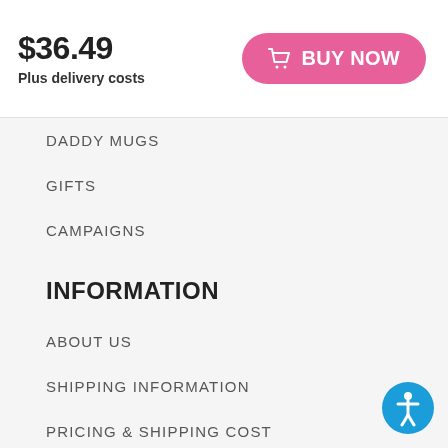$36.49
Plus delivery costs
BUY NOW
DADDY MUGS
GIFTS
CAMPAIGNS
INFORMATION
ABOUT US
SHIPPING INFORMATION
PRICING & SHIPPING COST
WHERE IS MY ORDER?
TERMS AND CONDITIONS
INTELLECTUAL PROPERTY
[Figure (illustration): Blue accessibility icon button with person symbol]